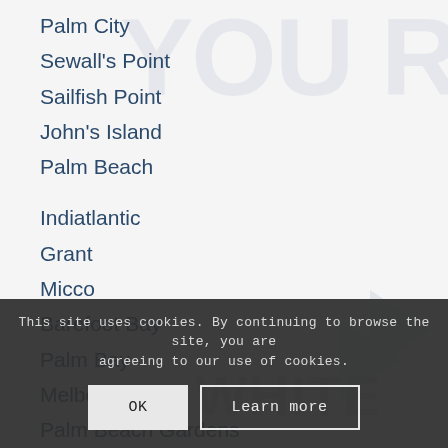Palm City
Sewall's Point
Sailfish Point
John's Island
Palm Beach
Indiatlantic
Grant
Micco
Barefoot Bay
Palm Bay
Melbourne
Palm Beach Gardens
Space Coast
Indian River
This site uses cookies. By continuing to browse the site, you are agreeing to our use of cookies.